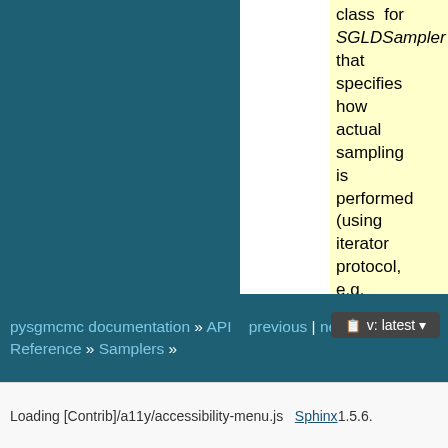class for SGLDSampler that specifies how actual sampling is performed (using iterator protocol, e.g. next(sampler))
pysgmcmc documentation » API   previous | next |   v: latest   index Reference » Samplers »
Loading [Contrib]/a11y/accessibility-menu.js   Sphinx 1.5.6.